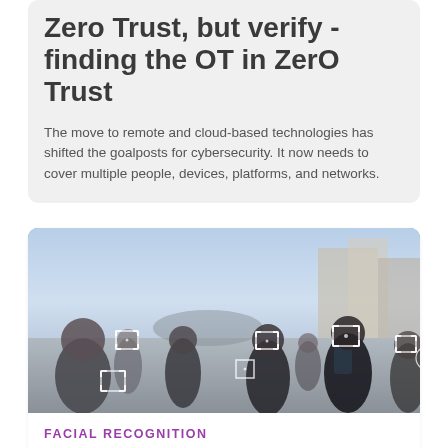Zero Trust, but verify - finding the OT in ZerO Trust
The move to remote and cloud-based technologies has shifted the goalposts for cybersecurity. It now needs to cover multiple people, devices, platforms, and networks.
[Figure (photo): Outdoor crowd scene with facial recognition bounding boxes overlaid on people's faces]
FACIAL RECOGNITION
Benefits vs risks of facial recognition